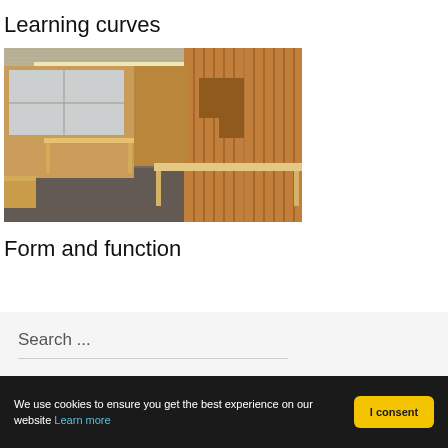Learning curves
[Figure (photo): Interior of a modern classroom or workspace with wooden furniture, wood-paneled walls, tables, and grey carpet.]
Form and function
Search ...
We use cookies to ensure you get the best experience on our website Learn more